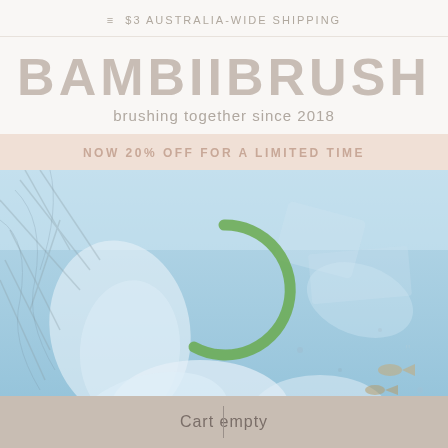≡ $3 AUSTRALIA-WIDE SHIPPING
BAMBIIBRUSH
brushing together since 2018
NOW 20% OFF FOR A LIMITED TIME
[Figure (screenshot): Hero image showing an underwater ocean scene with plastic pollution debris, fish, and coral, overlaid with a green circular loading spinner graphic in the center]
Cart empty